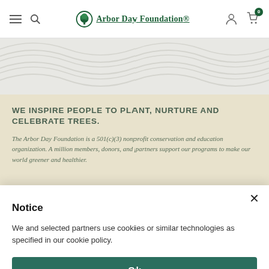Arbor Day Foundation — navigation header with hamburger menu, search, logo, user icon, and cart (0)
[Figure (illustration): Wave pattern decorative banner in light grey]
WE INSPIRE PEOPLE TO PLANT, NURTURE AND CELEBRATE TREES.
The Arbor Day Foundation is a 501(c)(3) nonprofit conservation and education organization. A million members, donors, and partners support our programs to make our world greener and healthier.
Notice
We and selected partners use cookies or similar technologies as specified in our cookie policy.
Ok
Cookie Policy